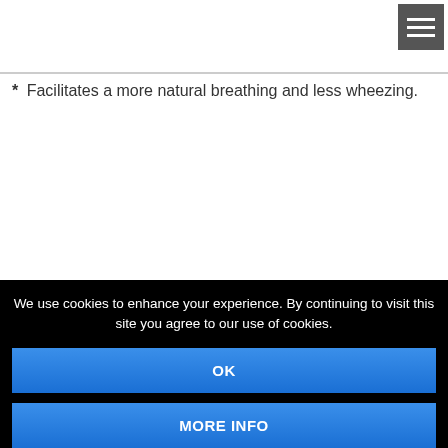[Figure (other): Hamburger menu icon button (three horizontal white lines on gray background) in top-right corner]
* Facilitates a more natural breathing and less wheezing.
We use cookies to enhance your experience. By continuing to visit this site you agree to our use of cookies.
OK
MORE INFO